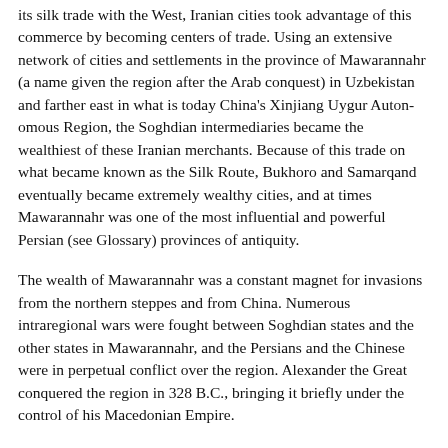its silk trade with the West, Iranian cities took advantage of this commerce by becoming centers of trade. Using an extensive network of cities and settlements in the province of Mawarannahr (a name given the region after the Arab conquest) in Uzbekistan and farther east in what is today China's Xinjiang Uygur Autonomous Region, the Soghdian intermediaries became the wealthiest of these Iranian merchants. Because of this trade on what became known as the Silk Route, Bukhoro and Samarqand eventually became extremely wealthy cities, and at times Mawarannahr was one of the most influential and powerful Persian (see Glossary) provinces of antiquity.
The wealth of Mawarannahr was a constant magnet for invasions from the northern steppes and from China. Numerous intraregional wars were fought between Soghdian states and the other states in Mawarannahr, and the Persians and the Chinese were in perpetual conflict over the region. Alexander the Great conquered the region in 328 B.C., bringing it briefly under the control of his Macedonian Empire.
In the same centuries, however, the region also was an important center of intellectual life and religion. Until the first centuries after Christ, the dominant religion in the region was Zoroastrianism (see Glossary), but Buddhism, Manichaeism (see Glossary), and Christianity also attracted large numbers of followers.